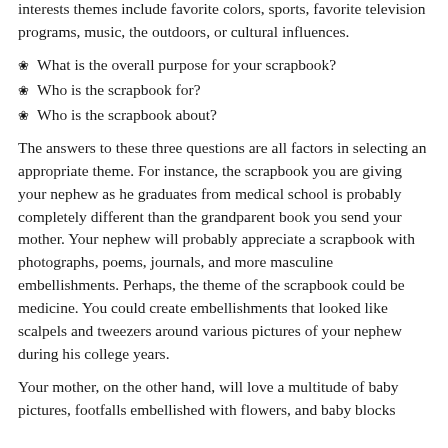interests themes include favorite colors, sports, favorite television programs, music, the outdoors, or cultural influences.
What is the overall purpose for your scrapbook?
Who is the scrapbook for?
Who is the scrapbook about?
The answers to these three questions are all factors in selecting an appropriate theme. For instance, the scrapbook you are giving your nephew as he graduates from medical school is probably completely different than the grandparent book you send your mother. Your nephew will probably appreciate a scrapbook with photographs, poems, journals, and more masculine embellishments. Perhaps, the theme of the scrapbook could be medicine. You could create embellishments that looked like scalpels and tweezers around various pictures of your nephew during his college years.
Your mother, on the other hand, will love a multitude of baby pictures, footfalls embellished with flowers, and baby blocks